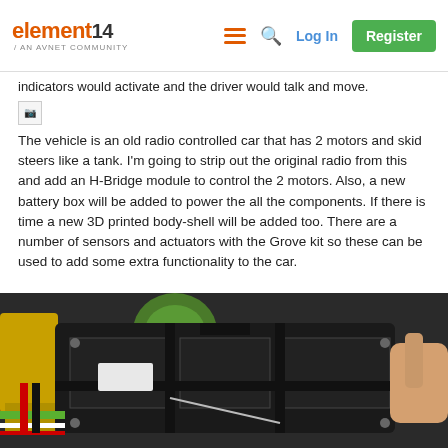element14 / AN AVNET COMMUNITY — Log In  Register
indicators would activate and the driver would talk and move.
[Figure (photo): Broken/missing image placeholder]
The vehicle is an old radio controlled car that has 2 motors and skid steers like a tank. I'm going to strip out the original radio from this and add an H-Bridge module to control the 2 motors. Also, a new battery box will be added to power the all the components. If there is time a new 3D printed body-shell will be added too. There are a number of sensors and actuators with the Grove kit so these can be used to add some extra functionality to the car.
[Figure (photo): Photo of electronic car chassis/H-Bridge module assembly showing black plastic frame, green component, yellow and red wires, metal screws and connectors]